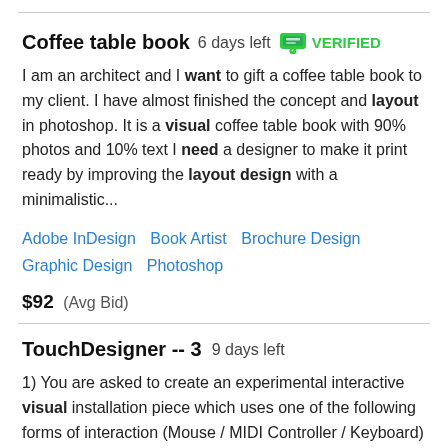Coffee table book  6 days left  VERIFIED
I am an architect and I want to gift a coffee table book to my client. I have almost finished the concept and layout in photoshop. It is a visual coffee table book with 90% photos and 10% text I need a designer to make it print ready by improving the layout design with a minimalistic...
Adobe InDesign  Book Artist  Brochure Design  Graphic Design  Photoshop
$92  (Avg Bid)
TouchDesigner -- 3  9 days left
1) You are asked to create an experimental interactive visual installation piece which uses one of the following forms of interaction (Mouse / MIDI Controller / Keyboard) It is expected that you create an original TouchDesigner network. This network may use still imagery, video or